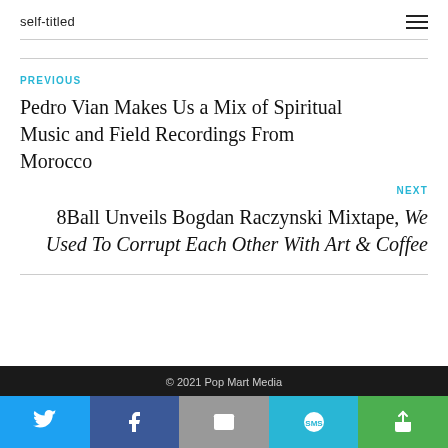self-titled
PREVIOUS
Pedro Vian Makes Us a Mix of Spiritual Music and Field Recordings From Morocco
NEXT
8Ball Unveils Bogdan Raczynski Mixtape, We Used To Corrupt Each Other With Art & Coffee
© 2021 Pop Mart Media